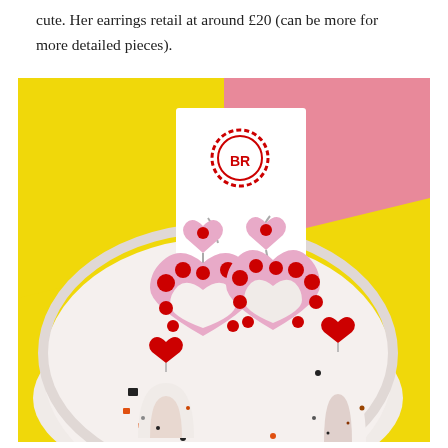cute. Her earrings retail at around £20 (can be more for more detailed pieces).
[Figure (photo): Product photo of handmade clay earrings displayed on a speckled ceramic dish against a split yellow and pink background. In the dish is a card with a red scalloped-circle logo reading 'BR', holding pink heart-shaped polka-dot earrings with red dots. In the foreground are two more earring sets: one with red heart tops and speckled arch pendants.]